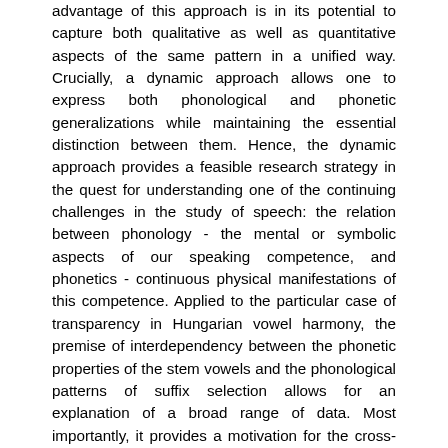advantage of this approach is in its potential to capture both qualitative as well as quantitative aspects of the same pattern in a unified way. Crucially, a dynamic approach allows one to express both phonological and phonetic generalizations while maintaining the essential distinction between them. Hence, the dynamic approach provides a feasible research strategy in the quest for understanding one of the continuing challenges in the study of speech: the relation between phonology - the mental or symbolic aspects of our speaking competence, and phonetics - continuous physical manifestations of this competence. Applied to the particular case of transparency in Hungarian vowel harmony, the premise of interdependency between the phonetic properties of the stem vowels and the phonological patterns of suffix selection allows for an explanation of a broad range of data. Most importantly, it provides a motivation for the cross-linguistic generalizations related to transparent vowels in palatal vowel harmony systems. In addition, the effects of tongue body height, lip rounding, and